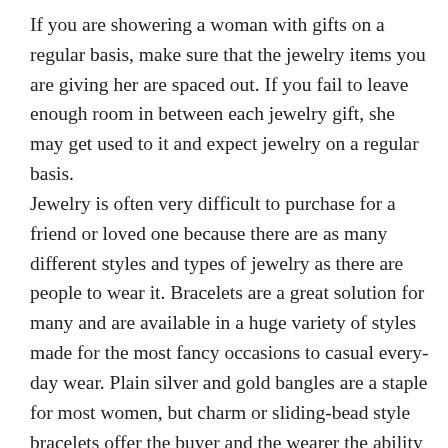If you are showering a woman with gifts on a regular basis, make sure that the jewelry items you are giving her are spaced out. If you fail to leave enough room in between each jewelry gift, she may get used to it and expect jewelry on a regular basis.
Jewelry is often very difficult to purchase for a friend or loved one because there are as many different styles and types of jewelry as there are people to wear it. Bracelets are a great solution for many and are available in a huge variety of styles made for the most fancy occasions to casual every-day wear. Plain silver and gold bangles are a staple for most women, but charm or sliding-bead style bracelets offer the buyer and the wearer the ability to completely customize the bracelet, as well as give the presenter a whole host of additional gifts to give in the future with the purchase of more charms or beads.
Jewelry is one of the best gifts to give to someone you care about. When purchasing jewelry as a gift, you should